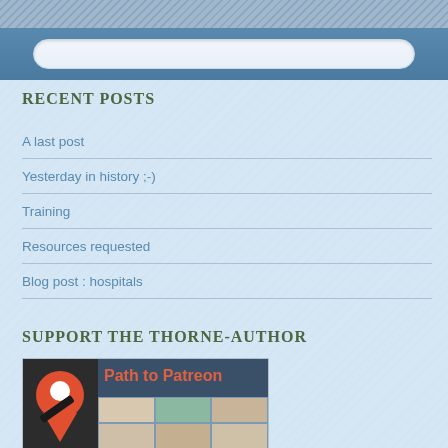RECENT POSTS
A last post
Yesterday in history ;-)
Training
Resources requested
Blog post : hospitals
SUPPORT THE THORNE-AUTHOR
[Figure (illustration): Path to Patreon banner with orange location pin icon on dark background and colored grid cells]
[Figure (illustration): Path to PayPal banner with blue wave logo on light background and teal/beige grid cells]